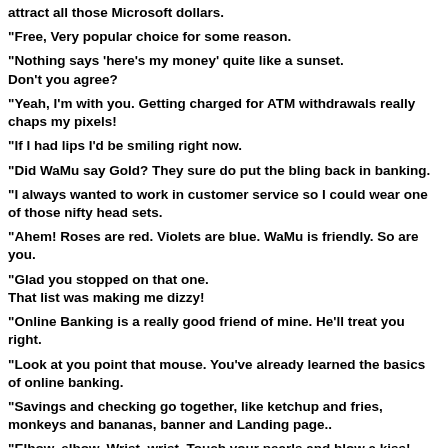attract all those Microsoft dollars.
"Free, Very popular choice for some reason.
"Nothing says 'here's my money' quite like a sunset.
Don't you agree?
"Yeah, I'm with you. Getting charged for ATM withdrawals really chaps my pixels!
"If I had lips I'd be smiling right now.
"Did WaMu say Gold? They sure do put the bling back in banking.
"I always wanted to work in customer service so I could wear one of those nifty head sets.
"Ahem! Roses are red. Violets are blue. WaMu is friendly. So are you.
"Glad you stopped on that one.
That list was making me dizzy!
"Online Banking is a really good friend of mine. He'll treat you right.
"Look at you point that mouse. You've already learned the basics of online banking.
"Savings and checking go together, like ketchup and fries, monkeys and bananas, banner and Landing page..
"Elbow, elbow, Wrist, wrist, Touch your pearls and blow a kiss! (I'm